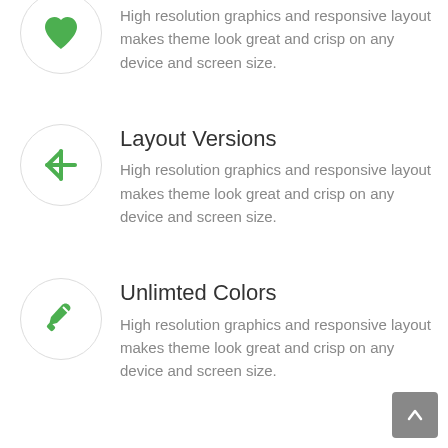[Figure (illustration): Green heart icon in a light gray circle, partially cropped at top]
High resolution graphics and responsive layout makes theme look great and crisp on any device and screen size.
Layout Versions
[Figure (illustration): Green yelp-style asterisk/snowflake icon in a light gray circle]
High resolution graphics and responsive layout makes theme look great and crisp on any device and screen size.
Unlimted Colors
[Figure (illustration): Green eyedropper/color picker icon in a light gray circle]
High resolution graphics and responsive layout makes theme look great and crisp on any device and screen size.